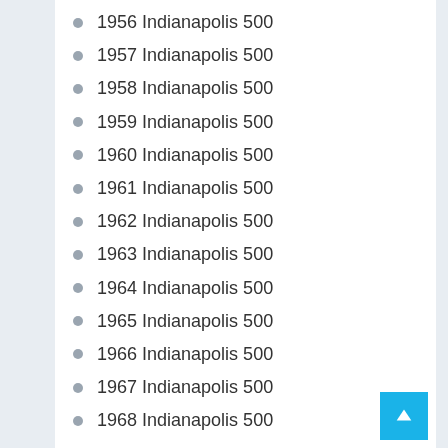1956 Indianapolis 500
1957 Indianapolis 500
1958 Indianapolis 500
1959 Indianapolis 500
1960 Indianapolis 500
1961 Indianapolis 500
1962 Indianapolis 500
1963 Indianapolis 500
1964 Indianapolis 500
1965 Indianapolis 500
1966 Indianapolis 500
1967 Indianapolis 500
1968 Indianapolis 500